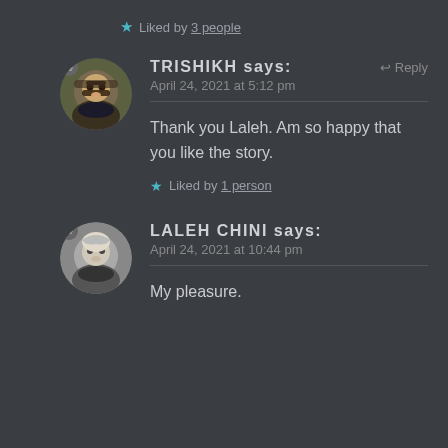★ Liked by 3 people
TRISHIKH says: April 24, 2021 at 5:12 pm — Reply
Thank you Laleh. Am so happy that you like the story.
★ Liked by 1 person
LALEH CHINI says: April 24, 2021 at 10:44 pm
My pleasure.